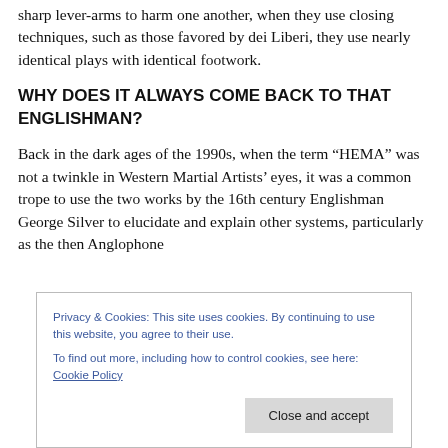sharp lever-arms to harm one another, when they use closing techniques, such as those favored by dei Liberi, they use nearly identical plays with identical footwork.
WHY DOES IT ALWAYS COME BACK TO THAT ENGLISHMAN?
Back in the dark ages of the 1990s, when the term “HEMA” was not a twinkle in Western Martial Artists’ eyes, it was a common trope to use the two works by the 16th century Englishman George Silver to elucidate and explain other systems, particularly as the then Anglophone
Privacy & Cookies: This site uses cookies. By continuing to use this website, you agree to their use.
To find out more, including how to control cookies, see here: Cookie Policy
Close and accept